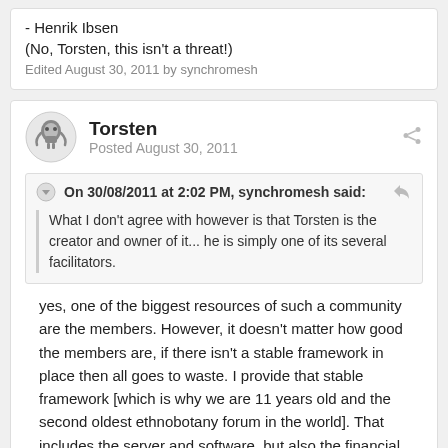- Henrik Ibsen
(No, Torsten, this isn't a threat!)
Edited August 30, 2011 by synchromesh
Torsten
Posted August 30, 2011
On 30/08/2011 at 2:02 PM, synchromesh said:
What I don't agree with however is that Torsten is the creator and owner of it... he is simply one of its several facilitators.
yes, one of the biggest resources of such a community are the members. However, it doesn't matter how good the members are, if there isn't a stable framework in place then all goes to waste. I provide that stable framework [which is why we are 11 years old and the second oldest ethnobotany forum in the world]. That includes the server and software, but also the financial and management stability. Without such stability this forum would have likely gone the same way that most other forums have gone over time. 4 years of EA were lost when that team